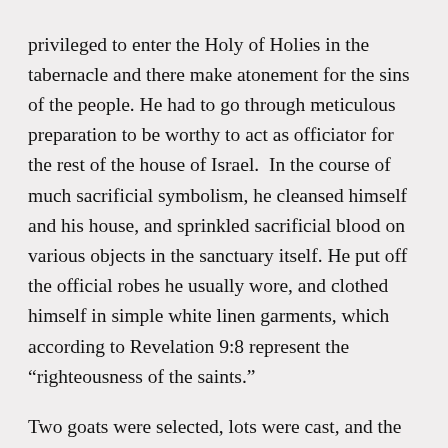privileged to enter the Holy of Holies in the tabernacle and there make atonement for the sins of the people. He had to go through meticulous preparation to be worthy to act as officiator for the rest of the house of Israel.  In the course of much sacrificial symbolism, he cleansed himself and his house, and sprinkled sacrificial blood on various objects in the sanctuary itself. He put off the official robes he usually wore, and clothed himself in simple white linen garments, which according to Revelation 9:8 represent the “righteousness of the saints.”
Two goats were selected, lots were cast, and the name of Jehovah was placed on one goat—the other was called Azazel, the scapegoat. The Lord’s goat was then sacrificed as the great Jehovah would be sacrificed in due course. The high priest